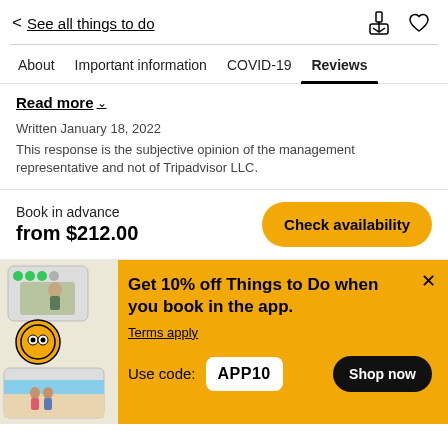< See all things to do
About | Important information | COVID-19 | Reviews
Read more ∨
Written January 18, 2022
This response is the subjective opinion of the management representative and not of Tripadvisor LLC.
Book in advance
from $212.00
Check availability
[Figure (illustration): TripAdvisor app promotion illustration with photos of activities and TripAdvisor badge]
Get 10% off Things to Do when you book in the app.
Terms apply
Use code: APP10
Shop now